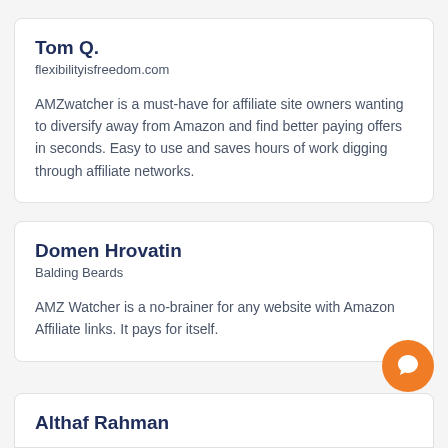Tom Q.
flexibilityisfreedom.com
AMZwatcher is a must-have for affiliate site owners wanting to diversify away from Amazon and find better paying offers in seconds. Easy to use and saves hours of work digging through affiliate networks.
Domen Hrovatin
Balding Beards
AMZ Watcher is a no-brainer for any website with Amazon Affiliate links. It pays for itself.
Althaf Rahman